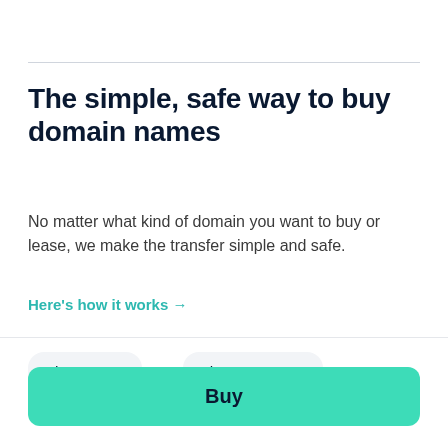The simple, safe way to buy domain names
No matter what kind of domain you want to buy or lease, we make the transfer simple and safe.
Here's how it works →
$3,500 or $161 /month
Buy